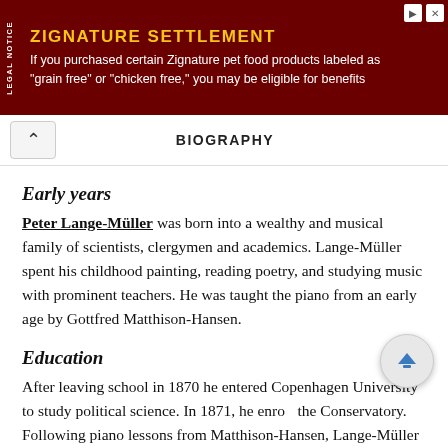[Figure (other): Legal notice advertisement banner for Zignature Settlement with dark red background, yellow title text 'ZIGNATURE SETTLEMENT', and white body text about pet food products]
BIOGRAPHY
Early years
Peter Lange-Müller was born into a wealthy and musical family of scientists, clergymen and academics. Lange-Müller spent his childhood painting, reading poetry, and studying music with prominent teachers. He was taught the piano from an early age by Gottfred Matthison-Hansen.
Education
After leaving school in 1870 he entered Copenhagen University to study political science. In 1871, he enrolled the Conservatory. Following piano lessons from Matthison-Hansen, Lange-Müller pursued piano training at the